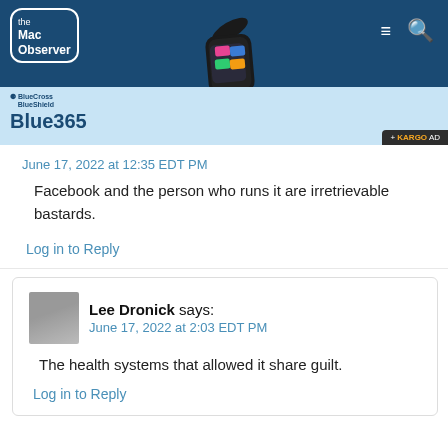[Figure (screenshot): The Mac Observer website header with logo, hamburger menu, search icon, and a smartwatch image on a dark blue background]
[Figure (screenshot): BlueCross BlueShield Blue365 advertisement banner with light blue background and KARGO AD badge]
June 17, 2022 at 12:35 EDT PM
Facebook and the person who runs it are irretrievable bastards.
Log in to Reply
Lee Dronick says:
June 17, 2022 at 2:03 EDT PM
The health systems that allowed it share guilt.
Log in to Reply